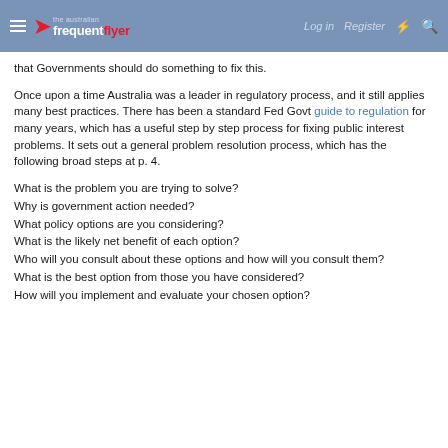The Australian Frequent Flyer — Log in | Register
that Governments should do something to fix this.
Once upon a time Australia was a leader in regulatory process, and it still applies many best practices. There has been a standard Fed Govt guide to regulation for many years, which has a useful step by step process for fixing public interest problems. It sets out a general problem resolution process, which has the following broad steps at p. 4.
What is the problem you are trying to solve?
Why is government action needed?
What policy options are you considering?
What is the likely net benefit of each option?
Who will you consult about these options and how will you consult them?
What is the best option from those you have considered?
How will you implement and evaluate your chosen option?